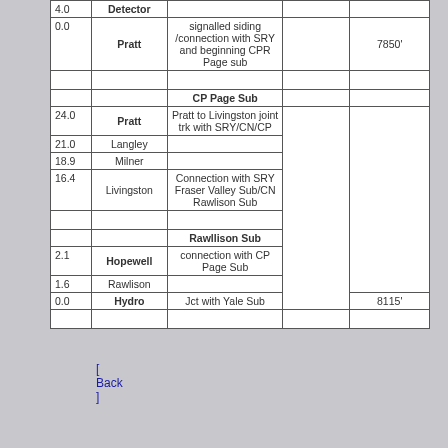| Mile | Station | Notes |  | Measure |
| --- | --- | --- | --- | --- |
| 4.0 | Detector |  |  |  |
| 0.0 | Pratt | signalled siding /connection with SRY and beginning CPR Page sub |  | 7850' |
|  |  |  |  |  |
|  |  | CP Page Sub |  |  |
| 24.0 | Pratt | Pratt to Livingston joint trk with SRY/CN/CP |  |  |
| 21.0 | Langley |  |  |  |
| 18.9 | Milner |  |  |  |
| 16.4 | Livingston | Connection with SRY Fraser Valley Sub/CN Rawlison Sub |  |  |
|  |  |  |  |  |
|  |  | Rawllison Sub |  |  |
| 2.1 | Hopewell | connection with CP Page Sub |  |  |
| 1.6 | Rawlison |  |  | 8115' |
| 0.0 | Hydro | Jct with Yale Sub |  |  |
|  |  |  |  |  |
[ Back ]